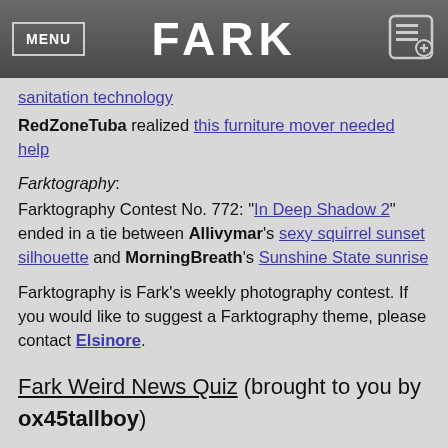FARK
sanitation technology
RedZoneTuba realized this furniture mover needed help
Farktography:
Farktography Contest No. 772: "In Deep Shadow 2" ended in a tie between Allivymar's sexy squirrel sunset silhouette and MorningBreath's Sunshine State sunrise
Farktography is Fark's weekly photography contest. If you would like to suggest a Farktography theme, please contact Elsinore.
Fark Weird News Quiz (brought to you by ox45tallboy)
Another fun time on the Quiz last week, although the 1000 club remains empty yet again. bud jones came out on top